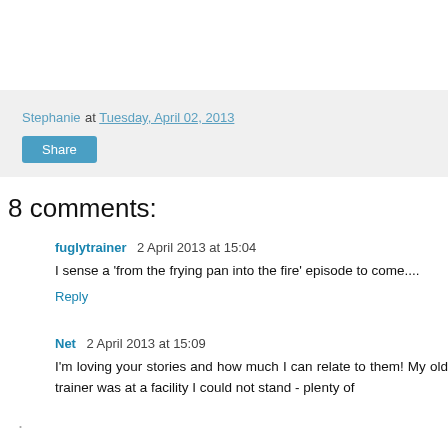Stephanie at Tuesday, April 02, 2013
Share
8 comments:
fuglytrainer 2 April 2013 at 15:04
I sense a 'from the frying pan into the fire' episode to come....
Reply
Net 2 April 2013 at 15:09
I'm loving your stories and how much I can relate to them! My old trainer was at a facility I could not stand - plenty of